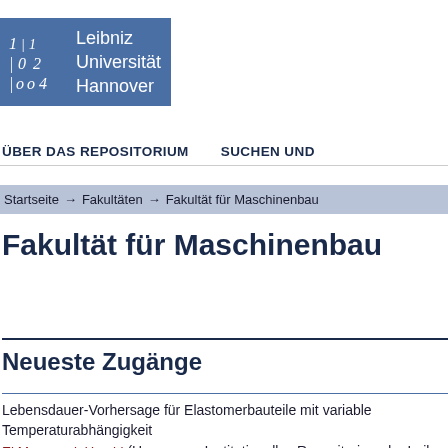[Figure (logo): Leibniz Universität Hannover logo with blue background, stylized numbers on left and text 'Leibniz Universität Hannover' on right]
ÜBER DAS REPOSITORIUM    SUCHEN UND
Startseite → Fakultäten → Fakultät für Maschinenbau
Fakultät für Maschinenbau
Neueste Zugänge
Lebensdauer-Vorhersage für Elastomerbauteile mit variable Temperaturabhängigkeit
El Maanaoui, Hamid (Hannover : Institutionelles Repositorium der Leib...